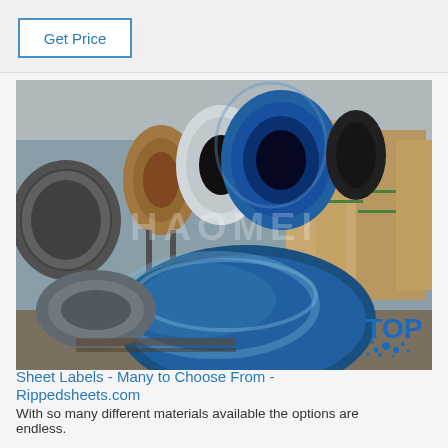Get Price
[Figure (photo): Industrial warehouse with multiple large metal coils/rolls wrapped in blue protective film and brown cardboard, stored on a factory floor. Watermark text 'HAOMEI' visible in center.]
[Figure (logo): TOP logo with blue dot splash design, top-right of page]
Sheet Labels - Many to Choose From - Rippedsheets.com
With so many different materials available the options are endless.